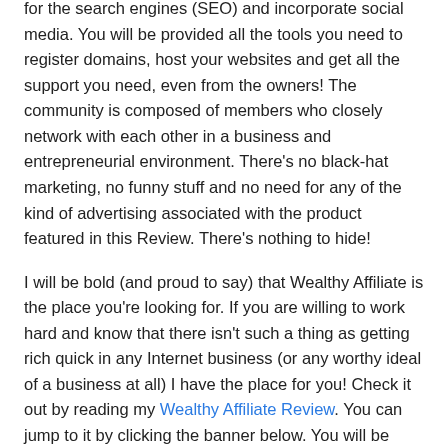for the search engines (SEO) and incorporate social media. You will be provided all the tools you need to register domains, host your websites and get all the support you need, even from the owners! The community is composed of members who closely network with each other in a business and entrepreneurial environment. There's no black-hat marketing, no funny stuff and no need for any of the kind of advertising associated with the product featured in this Review. There's nothing to hide!
I will be bold (and proud to say) that Wealthy Affiliate is the place you're looking for. If you are willing to work hard and know that there isn't such a thing as getting rich quick in any Internet business (or any worthy ideal of a business at all) I have the place for you! Check it out by reading my Wealthy Affiliate Review. You can jump to it by clicking the banner below. You will be shown what